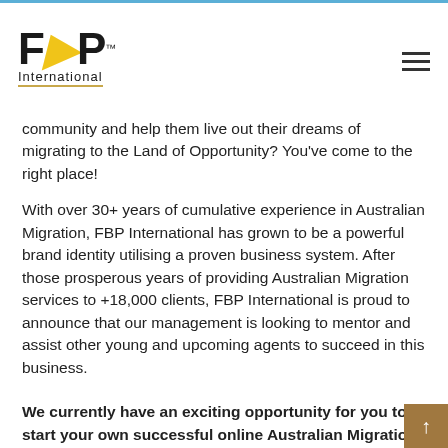FBP International
community and help them live out their dreams of migrating to the Land of Opportunity? You've come to the right place!
With over 30+ years of cumulative experience in Australian Migration, FBP International has grown to be a powerful brand identity utilising a proven business system. After those prosperous years of providing Australian Migration services to +18,000 clients, FBP International is proud to announce that our management is looking to mentor and assist other young and upcoming agents to succeed in this business.
We currently have an exciting opportunity for you to start your own successful online Australian Migration Business and become a partner with FBP International!